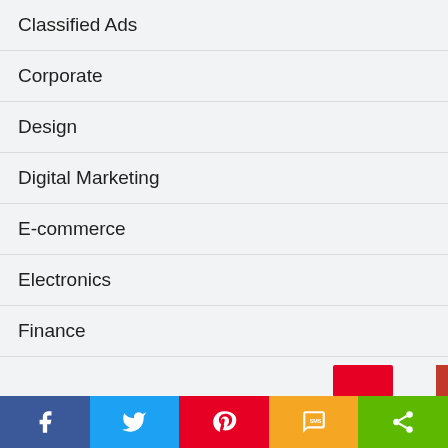Classified Ads
Corporate
Design
Digital Marketing
E-commerce
Electronics
Finance